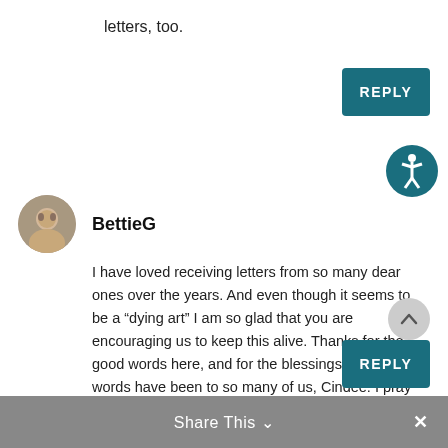letters, too.
REPLY
[Figure (illustration): Accessibility icon - circular teal button with human figure symbol]
[Figure (photo): User avatar photo of BettieG]
BettieG
I have loved receiving letters from so many dear ones over the years. And even though it seems to be a “dying art” I am so glad that you are encouraging us to keep this alive. Thanks for the good words here, and for the blessings that your words have been to so many of us, Cindee. I pray the Lord is bringing that same comfort back to you now.
REPLY
Share This ∨  ×